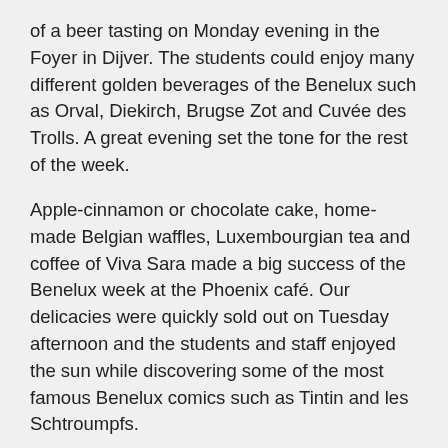of a beer tasting on Monday evening in the Foyer in Dijver. The students could enjoy many different golden beverages of the Benelux such as Orval, Diekirch, Brugse Zot and Cuvée des Trolls. A great evening set the tone for the rest of the week.
Apple-cinnamon or chocolate cake, home-made Belgian waffles, Luxembourgian tea and coffee of Viva Sara made a big success of the Benelux week at the Phoenix café. Our delicacies were quickly sold out on Tuesday afternoon and the students and staff enjoyed the sun while discovering some of the most famous Benelux comics such as Tintin and les Schtroumpfs.
Wednesday was marked by a tasteful #Benelunch. La Moutarderie de Luxembourg provided delicious sauces that were served with fresh fries at our 'Frietkot'. The boulets liégeois and Luxembourgian quiche delighted the students before entering chocolate heaven.
The Benelux week was honoured to welcome the Secretary-